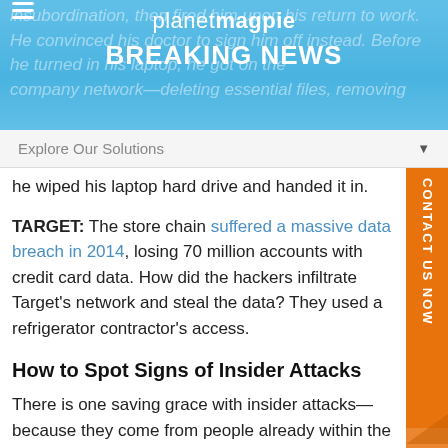planet magpie BREAKING NEWS
insubordination, then fired him upon his return to work. He convinced his doctor to sign him off instead. Before he turned in his laptop, he got on the company network—deleting essential files, removing
Explore Our Solutions
he wiped his laptop hard drive and handed it in.
TARGET: The store chain suffered a massive data breach in 2014, losing 70 million accounts with credit card data. How did the hackers infiltrate Target's network and steal the data? They used a refrigerator contractor's access.
How to Spot Signs of Insider Attacks
There is one saving grace with insider attacks—because they come from people already within the organization, you stand a better chance of identifying an attack